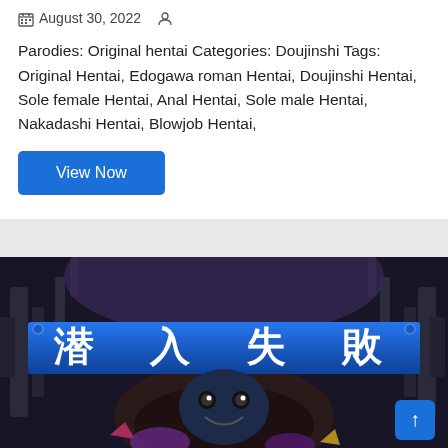August 30, 2022
Parodies: Original hentai Categories: Doujinshi Tags: Original Hentai, Edogawa roman Hentai, Doujinshi Hentai, Sole female Hentai, Anal Hentai, Sole male Hentai, Nakadashi Hentai, Blowjob Hentai,
View Now
[Figure (illustration): Manga/anime style illustration with Japanese characters reading 潜入失敗 on a blue banner, with a dark character with glowing eyes in a mechanical environment]